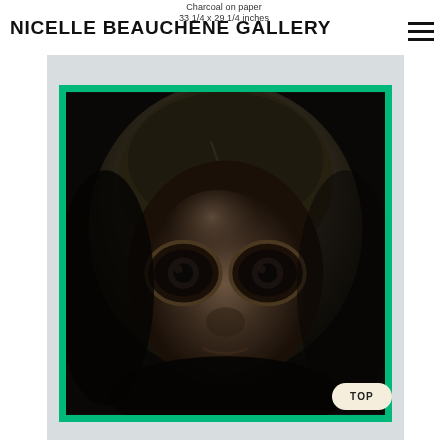Charcoal on paper
33 1/4 x 29 1/4 inches
NICELLE BEAUCHENE GALLERY
[Figure (photo): Close-up black and white photograph of an ancient sculptural face with large circular eyes, small nose, and slight smile, displayed in a green-bordered dark frame against a light gray background]
TOP